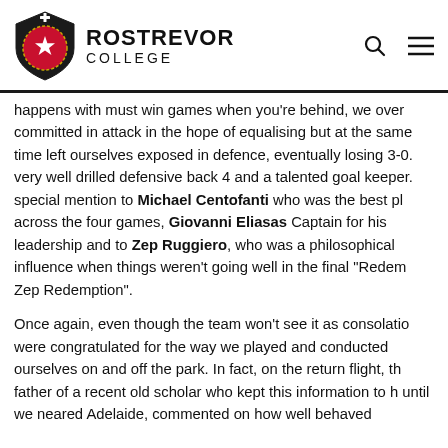ROSTREVOR COLLEGE
happens with must win games when you're behind, we over committed in attack in the hope of equalising but at the same time left ourselves exposed in defence, eventually losing 3-0. very well drilled defensive back 4 and a talented goal keeper. special mention to Michael Centofanti who was the best player across the four games, Giovanni Eliasas Captain for his leadership and to Zep Ruggiero, who was a philosophical influence when things weren't going well in the final "Redemption Zep Redemption".
Once again, even though the team won't see it as consolation, were congratulated for the way we played and conducted ourselves on and off the park. In fact, on the return flight, the father of a recent old scholar who kept this information to himself until we neared Adelaide, commented on how well behaved boys were and the rest of the rest of this...